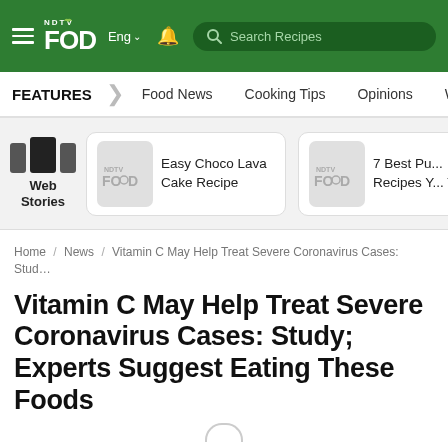NDTV Food Eng | Search Recipes
FEATURES | Food News | Cooking Tips | Opinions | World Cuisine
[Figure (screenshot): Web Stories section with two story cards: 'Easy Choco Lava Cake Recipe' and '7 Best Pu... Recipes Y... Try', each with NDTV Food thumbnail placeholder]
Home / News / Vitamin C May Help Treat Severe Coronavirus Cases: Stud…
Vitamin C May Help Treat Severe Coronavirus Cases: Study; Experts Suggest Eating These Foods